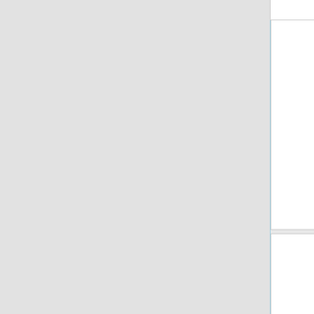[Figure (screenshot): App interface showing camera grid with AIRSIGHT logo cards and add (+) icons, navigation bar with Camera/Photos/Videos/SDCard tabs, Live Video header, orange info bar showing Camera E3NT9LD6J4U7S, and live video feed with tree silhouette]
Back
Live Video
Camera
E3NT9LD6J4U7S